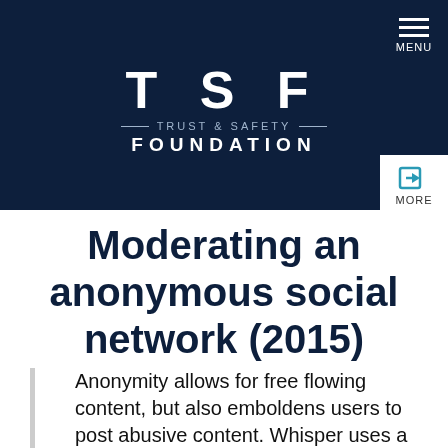[Figure (logo): TSF Trust & Safety Foundation logo on dark navy background with menu icon]
Moderating an anonymous social network (2015)
Anonymity allows for free flowing content, but also emboldens users to post abusive content. Whisper uses a combination of automated and human moderation to